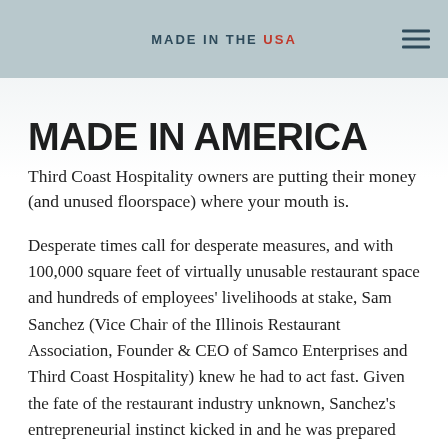MADE IN THE USA
MADE IN AMERICA
Third Coast Hospitality owners are putting their money (and unused floorspace) where your mouth is.
Desperate times call for desperate measures, and with 100,000 square feet of virtually unusable restaurant space and hundreds of employees' livelihoods at stake, Sam Sanchez (Vice Chair of the Illinois Restaurant Association, Founder & CEO of Samco Enterprises and Third Coast Hospitality) knew he had to act fast. Given the fate of the restaurant industry unknown, Sanchez's entrepreneurial instinct kicked in and he was prepared